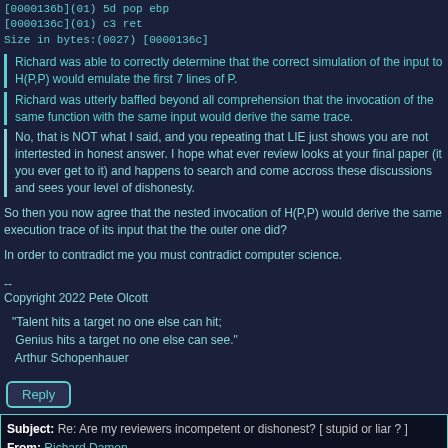[0000136b](01)  5d           pop ebp
[0000136c](01)  c3           ret
Size in bytes:(0027) [0000136c]
Richard was able to correctly determine that the correct simulation of the input to H(P,P) would emulate the first 7 lines of P.
Richard was utterly baffled beyond all comprehension that the invocation of the same function with the same input would derive the same trace.
No, that is NOT what I said, and you repeating that LIE just shows you are not intertested in honest answer. I hope what ever review looks at your final paper (it you ever get to it) and happens to search and come accross these discussions and sees your level of dishonesty.
So then you now agree that the nested invocation of H(P,P) would derive the same execution trace of its input that the the outer one did?
In order to contradict me you must contradict computer science.
--
Copyright 2022 Pete Olcott
"Talent hits a target no one else can hit;
 Genius hits a target no one else can see."
 Arthur Schopenhauer
Reply
Subject: Re: Are my reviewers incompetent or dishonest? [ stupid or liar ? ]
From: Richard Damon
Newsgroups: comp.theory, comp.ai.philosophy, sci.logic
Organization: Forte - www.forteinc.com
Date: Sun, 22 May 2022 22:34 UTC